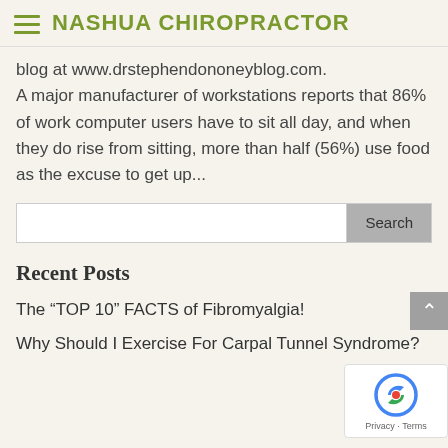NASHUA CHIROPRACTOR
blog at www.drstephendononeyblog.com. A major manufacturer of workstations reports that 86% of work computer users have to sit all day, and when they do rise from sitting, more than half (56%) use food as the excuse to get up...
Recent Posts
The “TOP 10” FACTS of Fibromyalgia!
Why Should I Exercise For Carpal Tunnel Syndrome?